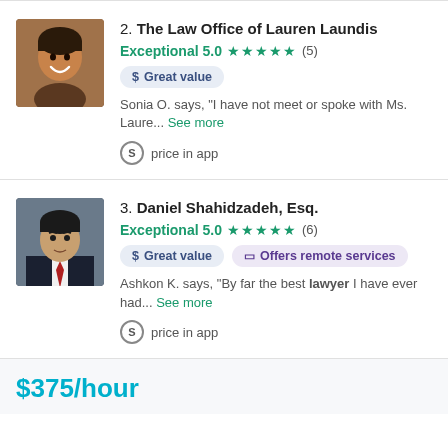[Figure (photo): Profile photo of a woman with dark hair, smiling]
2. The Law Office of Lauren Laundis
Exceptional 5.0 ★★★★★ (5)
$ Great value
Sonia O. says, "I have not meet or spoke with Ms. Laure... See more
price in app
[Figure (photo): Profile photo of a man in a dark suit with a red tie]
3. Daniel Shahidzadeh, Esq.
Exceptional 5.0 ★★★★★ (6)
$ Great value
Offers remote services
Ashkon K. says, "By far the best lawyer I have ever had... See more
price in app
$375/hour